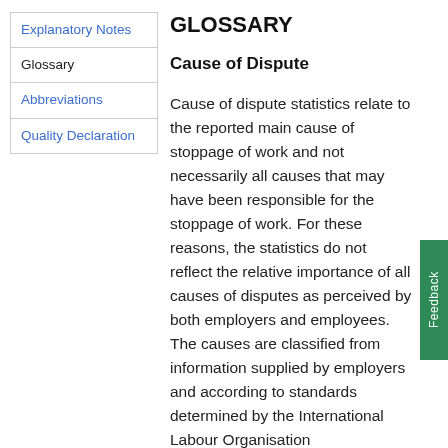Explanatory Notes
Glossary
Abbreviations
Quality Declaration
GLOSSARY
Cause of Dispute
Cause of dispute statistics relate to the reported main cause of stoppage of work and not necessarily all causes that may have been responsible for the stoppage of work. For these reasons, the statistics do not reflect the relative importance of all causes of disputes as perceived by both employers and employees. The causes are classified from information supplied by employers and according to standards determined by the International Labour Organisation